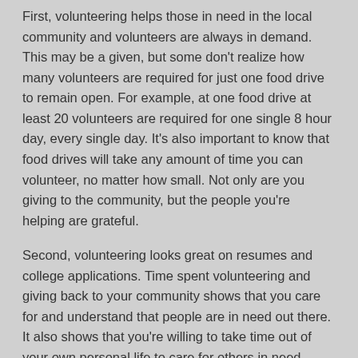First, volunteering helps those in need in the local community and volunteers are always in demand. This may be a given, but some don't realize how many volunteers are required for just one food drive to remain open. For example, at one food drive at least 20 volunteers are required for one single 8 hour day, every single day. It's also important to know that food drives will take any amount of time you can volunteer, no matter how small. Not only are you giving to the community, but the people you're helping are grateful.
Second, volunteering looks great on resumes and college applications. Time spent volunteering and giving back to your community shows that you care for and understand that people are in need out there. It also shows that you're willing to take time out of your own personal life to care for others in need. Another point is that volunteering time...